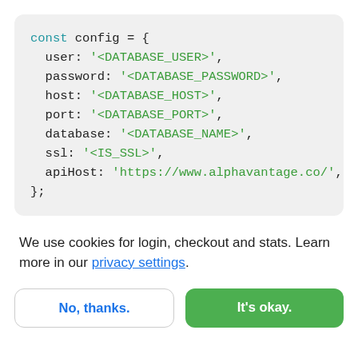[Figure (screenshot): Code block showing a JavaScript config object with database and API connection settings using placeholder strings]
We use cookies for login, checkout and stats. Learn more in our privacy settings.
No, thanks.
It's okay.